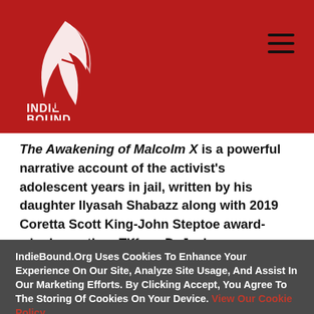[Figure (logo): IndieBound logo on red header bar with hamburger menu icon]
The Awakening of Malcolm X is a powerful narrative account of the activist's adolescent years in jail, written by his daughter Ilyasah Shabazz along with 2019 Coretta Scott King-John Steptoe award-winning author, Tiffany D. Jackson.
IndieBound.Org Uses Cookies To Enhance Your Experience On Our Site, Analyze Site Usage, And Assist In Our Marketing Efforts. By Clicking Accept, You Agree To The Storing Of Cookies On Your Device. View Our Cookie Policy.
Give me more info
Accept all Cookies